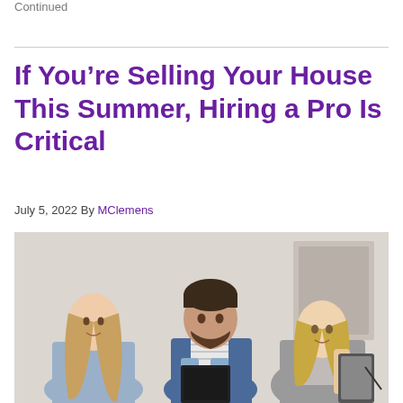Continued
If You’re Selling Your House This Summer, Hiring a Pro Is Critical
July 5, 2022 By MClemens
[Figure (photo): A real estate agent showing documents to a couple inside a home. The agent, a blonde woman in a grey blazer, holds a tablet and pen while a man in a denim jacket and a woman with long hair look on.]